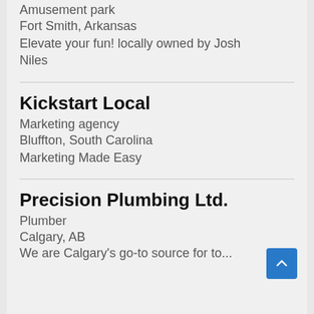Amusement park
Fort Smith, Arkansas
Elevate your fun! locally owned by Josh Niles
Kickstart Local
Marketing agency
Bluffton, South Carolina
Marketing Made Easy
Precision Plumbing Ltd.
Plumber
Calgary, AB
We are Calgary's go-to source for to...